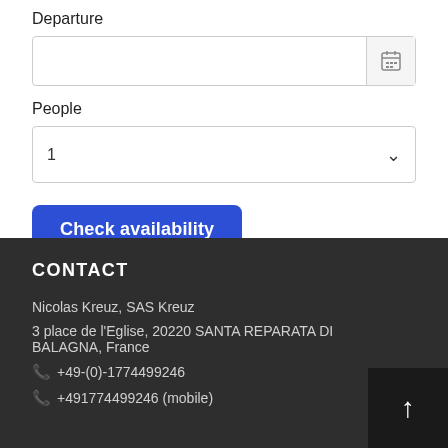Departure
[Figure (screenshot): Date input field with calendar icon button for Departure]
People
[Figure (screenshot): Dropdown selector showing value 1 with chevron]
Check availability
CONTACT
Nicolas Kreuz, SAS Kreuz
3 place de l'Eglise, 20220 SANTA REPARATA DI BALAGNA, France
+49-(0)-1774499246
+491774499246 (mobile)